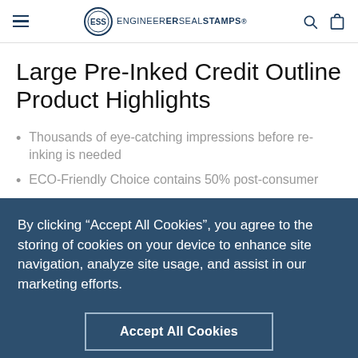ENGINEERERSEALSTAMPS
Large Pre-Inked Credit Outline Product Highlights
Thousands of eye-catching impressions before re-inking is needed
ECO-Friendly Choice contains 50% post-consumer...
By clicking “Accept All Cookies”, you agree to the storing of cookies on your device to enhance site navigation, analyze site usage, and assist in our marketing efforts.
Plastic cap mount... different ink colors
Plastic cap mount... requires no tools